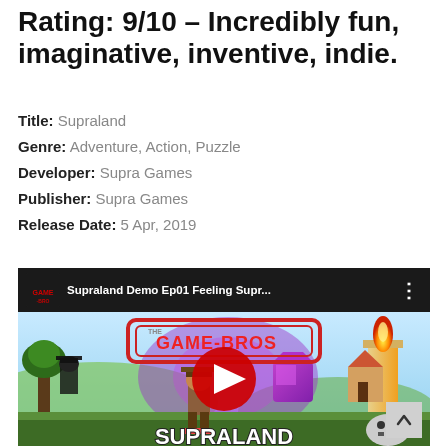Rating: 9/10 – Incredibly fun, imaginative, inventive, indie.
Title: Supraland
Genre: Adventure, Action, Puzzle
Developer: Supra Games
Publisher: Supra Games
Release Date: 5 Apr, 2019
[Figure (screenshot): YouTube video embed showing 'Supraland Demo Ep01 Feeling Supr...' by Game-Bros channel, with a colorful game thumbnail featuring The Game-Bros logo, a character in a hat, purple crystals, a candle, and SUPRALAND text at the bottom. A red YouTube play button is overlaid in the center.]